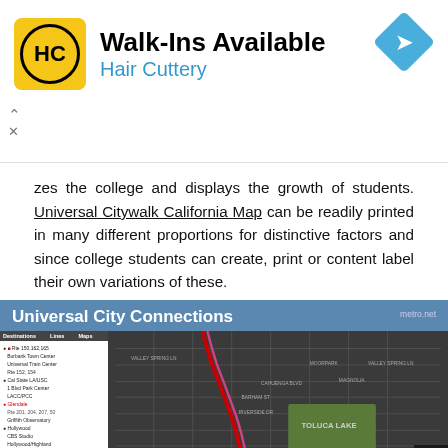[Figure (other): Hair Cuttery advertisement banner with logo, 'Walk-Ins Available' headline, and navigation icon]
zes the college and displays the growth of students. Universal Citywalk California Map can be readily printed in many different proportions for distinctive factors and since college students can create, print or content label their own variations of these.
[Figure (map): Universal City Connections metro map showing bus lines and street map with Universal Studios label and Toluca Lake area. From metro.net.]